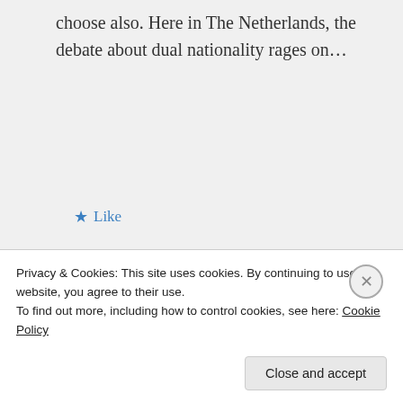choose also. Here in The Netherlands, the debate about dual nationality rages on…
★ Like
↪ Reply
livelytwist on November 4, 2013 at 11:18 pm
Tomi, thank you so much for
Privacy & Cookies: This site uses cookies. By continuing to use this website, you agree to their use. To find out more, including how to control cookies, see here: Cookie Policy